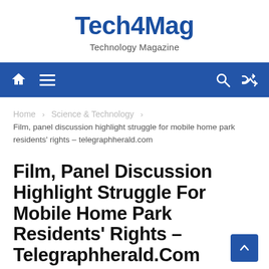Tech4Mag
Technology Magazine
Navigation bar with home icon, hamburger menu, search icon, shuffle icon
Home › Science & Technology ›
Film, panel discussion highlight struggle for mobile home park residents' rights – telegraphherald.com
Film, Panel Discussion Highlight Struggle For Mobile Home Park Residents' Rights – Telegraphherald.Com